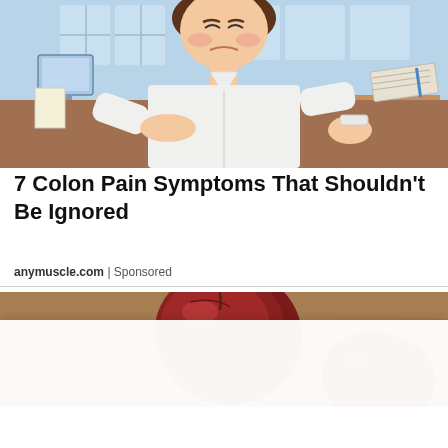[Figure (illustration): Cartoon illustration of a person in office clothes holding their stomach in pain, set in an office background]
7 Colon Pain Symptoms That Shouldn't Be Ignored
anymuscle.com | Sponsored
[Figure (photo): Close-up photo of dark red fruits (possibly plums or beets) on a wooden surface]
If you enjoy The Beaverton, consider supporting us by signing up for a Subscription through Coil. Here's how...
Get Access Now